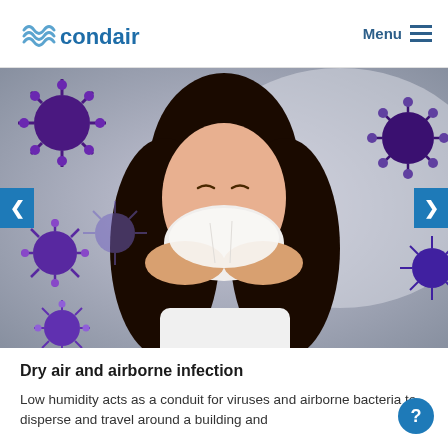condair  Menu
[Figure (photo): A woman sneezing into a tissue surrounded by illustrated purple virus/bacteria particles floating in the air, on a blurred indoor background.]
Dry air and airborne infection
Low humidity acts as a conduit for viruses and airborne bacteria to disperse and travel around a building and